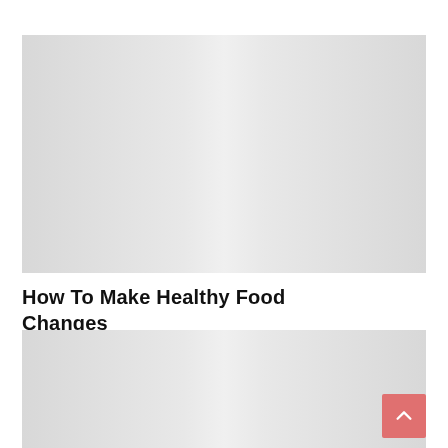[Figure (photo): Gray placeholder image at top of page]
How To Make Healthy Food Changes
[Figure (photo): Gray placeholder image at bottom of page]